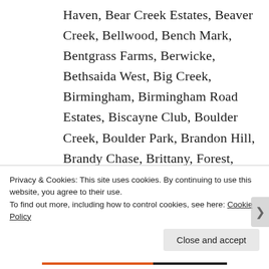Haven, Bear Creek Estates, Beaver Creek, Bellwood, Bench Mark, Bentgrass Farms, Berwicke, Bethsaida West, Big Creek, Birmingham, Birmingham Road Estates, Biscayne Club, Boulder Creek, Boulder Park, Brandon Hill, Brandy Chase, Brittany, Forest, Brookfield West, Brookhaven, Brooklyn, Brookwood, Brookwood
Privacy & Cookies: This site uses cookies. By continuing to use this website, you agree to their use.
To find out more, including how to control cookies, see here: Cookie Policy